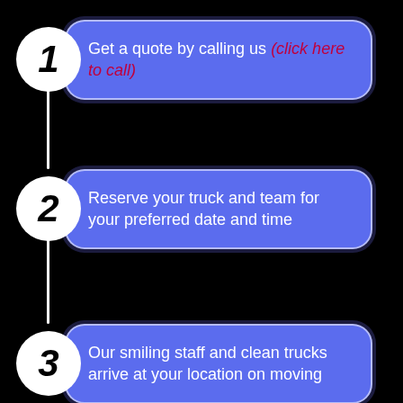1 - Get a quote by calling us (click here to call)
2 - Reserve your truck and team for your preferred date and time
3 - Our smiling staff and clean trucks arrive at your location on moving